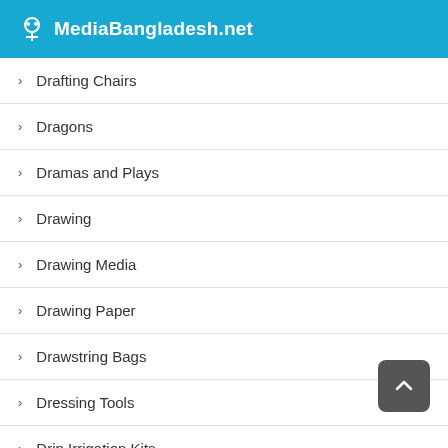MediaBangladesh.net
Drafting Chairs
Dragons
Dramas and Plays
Drawing
Drawing Media
Drawing Paper
Drawstring Bags
Dressing Tools
Drip Irrigation Kits
Drippers